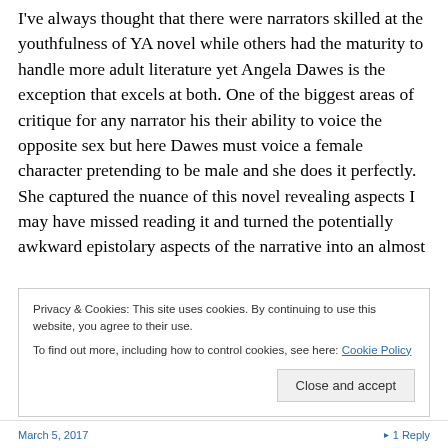I've always thought that there were narrators skilled at the youthfulness of YA novel while others had the maturity to handle more adult literature yet Angela Dawes is the exception that excels at both. One of the biggest areas of critique for any narrator his their ability to voice the opposite sex but here Dawes must voice a female character pretending to be male and she does it perfectly. She captured the nuance of this novel revealing aspects I may have missed reading it and turned the potentially awkward epistolary aspects of the narrative into an almost
Privacy & Cookies: This site uses cookies. By continuing to use this website, you agree to their use.
To find out more, including how to control cookies, see here: Cookie Policy
Close and accept
March 5, 2017    ▸ 1 Reply